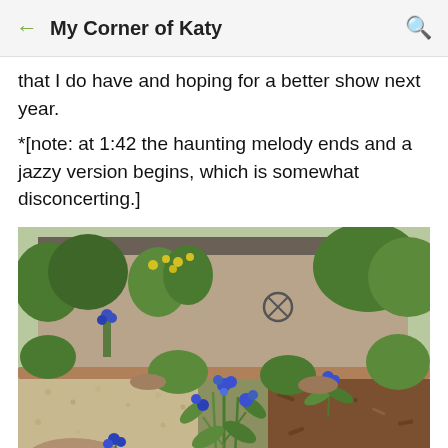My Corner of Katy
that I do have and hoping for a better show next year.
*[note: at 1:42 the haunting melody ends and a jazzy version begins, which is somewhat disconcerting.]
[Figure (photo): Garden photo showing blue wildflowers (likely bluebonnets or spiderwort) growing among rocks, gravel, and mulch in a Texas garden, with a brick house visible in the background and yellow flowers and green shrubs throughout.]